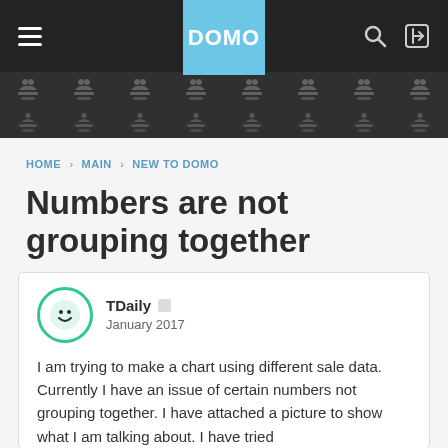DOMO navigation header with logo, hamburger menu, search and login icons, user grid background
HOME › MAIN › NEW TO DOMO
Numbers are not grouping together
TDaily  January 2017

I am trying to make a chart using different sale data. Currently I have an issue of certain numbers not grouping together. I have attached a picture to show what I am talking about. I have tried